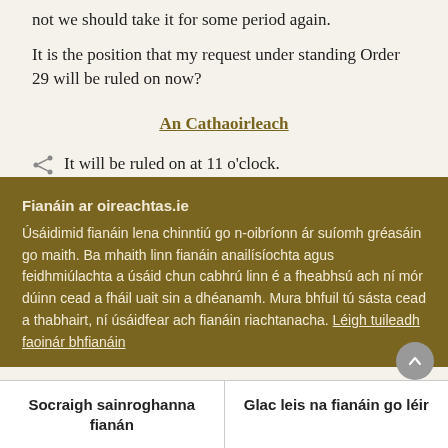not we should take it for some period again.
It is the position that my request under standing Order 29 will be ruled on now?
An Cathaoirleach
It will be ruled on at 11 o'clock.
Fianáin ar oireachtas.ie
Úsáidimid fianáin lena chinntiú go n-oibríonn ár suíomh gréasáin go maith. Ba mhaith linn fianáin anailísíochta agus feidhmiúlachta a úsáid chun cabhrú linn é a fheabhsú ach ní mór dúinn cead a fháil uait sin a dhéanamh. Mura bhfuil tú sásta cead a thabhairt, ní úsáidfear ach fianáin riachtanacha. Léigh tuileadh faoinár bhfianáin
Socraigh sainroghanna fianán
Glac leis na fianáin go léir